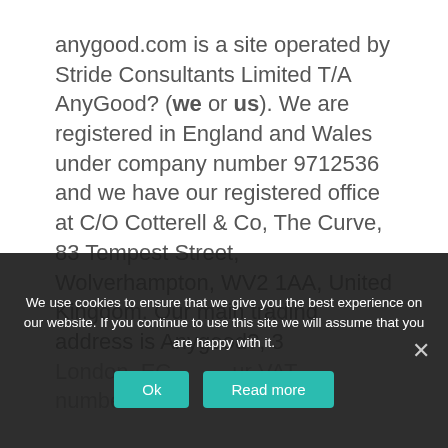anygood.com is a site operated by Stride Consultants Limited T/A AnyGood? (we or us). We are registered in England and Wales under company number 9712536 and we have our registered office at C/O Cotterell & Co, The Curve, 83 Tempest Street, Wolverhampton, WV2 1AA, United Kingdom. Our main trading address is Anygood?, 3 ... London, EC... Our VAT number is...
We use cookies to ensure that we give you the best experience on our website. If you continue to use this site we will assume that you are happy with it.